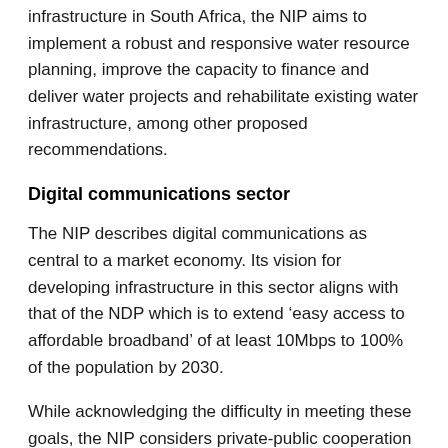infrastructure in South Africa, the NIP aims to implement a robust and responsive water resource planning, improve the capacity to finance and deliver water projects and rehabilitate existing water infrastructure, among other proposed recommendations.
Digital communications sector
The NIP describes digital communications as central to a market economy. Its vision for developing infrastructure in this sector aligns with that of the NDP which is to extend ‘easy access to affordable broadband’ of at least 10Mbps to 100% of the population by 2030.
While acknowledging the difficulty in meeting these goals, the NIP considers private-public cooperation as a mechanism through which this vision can be successfully coordinated and implemented.